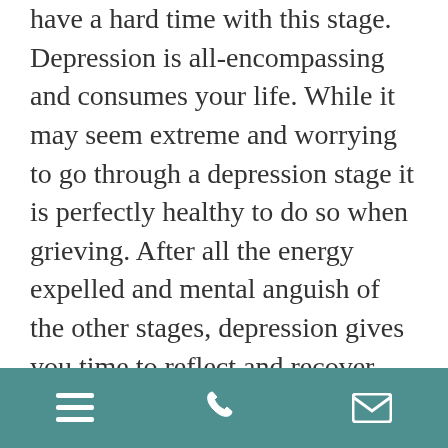have a hard time with this stage. Depression is all-encompassing and consumes your life. While it may seem extreme and worrying to go through a depression stage it is perfectly healthy to do so when grieving. After all the energy expelled and mental anguish of the other stages, depression gives you time to reflect and recover. Taking ample time to feel the loneliness and isolation make it easier to re-enter the world when you are ready.
When going through depression, avoid people who encourage you to “snap out of it.” For one, you cannot control your emotions that way. Instead, let yourself feel the despair and emptiness– just as you let yourself feel the other stages. This is a significant period of reflection and recuperation.
[menu icon] [phone icon] [email icon]